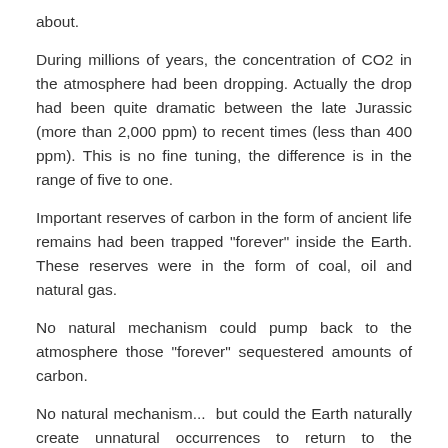about.
During millions of years, the concentration of CO2 in the atmosphere had been dropping. Actually the drop had been quite dramatic between the late Jurassic (more than 2,000 ppm) to recent times (less than 400 ppm). This is no fine tuning, the difference is in the range of five to one.
Important reserves of carbon in the form of ancient life remains had been trapped "forever" inside the Earth. These reserves were in the form of coal, oil and natural gas.
No natural mechanism could pump back to the atmosphere those "forever" sequestered amounts of carbon.
No natural mechanism...  but could the Earth naturally create unnatural occurrences to return to the biosphere that long lost carbon or, would the Earth itself slowly starve due to insufficient CO2 in the atmosphere?